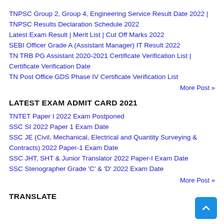TNPSC Group 2, Group 4, Engineering Service Result Date 2022 | TNPSC Results Declaration Schedule 2022
Latest Exam Result | Merit List | Cut Off Marks 2022
SEBI Officer Grade A (Assistant Manager) IT Result 2022
TN TRB PG Assistant 2020-2021 Certificate Verification List | Certificate Verification Date
TN Post Office GDS Phase IV Certificate Verification List
More Post »
LATEST EXAM ADMIT CARD 2021
TNTET Paper I 2022 Exam Postponed
SSC SI 2022 Paper 1 Exam Date
SSC JE (Civil, Mechanical, Electrical and Quantity Surveying & Contracts) 2022 Paper-1 Exam Date
SSC JHT, SHT & Junior Translator 2022 Paper-I Exam Date
SSC Stenographer Grade 'C' & 'D' 2022 Exam Date
More Post »
TRANSLATE